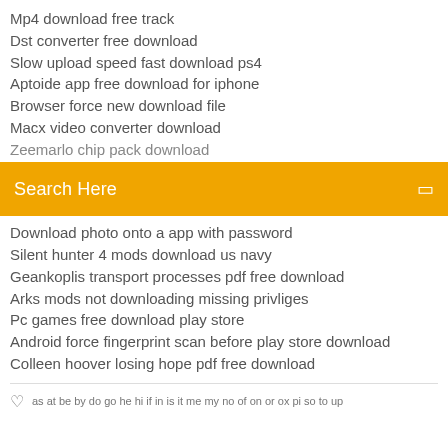Mp4 download free track
Dst converter free download
Slow upload speed fast download ps4
Aptoide app free download for iphone
Browser force new download file
Macx video converter download
Zeemarble chip pack download
Search Here
Download photo onto a app with password
Silent hunter 4 mods download us navy
Geankoplis transport processes pdf free download
Arks mods not downloading missing privliges
Pc games free download play store
Android force fingerprint scan before play store download
Colleen hoover losing hope pdf free download
as at be by do go he hi if in is it me my no of on or ox pi so to up